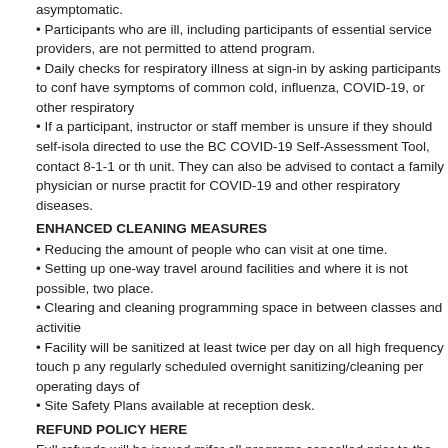asymptomatic.
• Participants who are ill, including participants of essential service providers, are not permitted to attend program.
• Daily checks for respiratory illness at sign-in by asking participants to confirm they do not have symptoms of common cold, influenza, COVID-19, or other respiratory
• If a participant, instructor or staff member is unsure if they should self-isolate, they will be directed to use the BC COVID-19 Self-Assessment Tool, contact 8-1-1 or their local health unit. They can also be advised to contact a family physician or nurse practitioner to be tested for COVID-19 and other respiratory diseases.
ENHANCED CLEANING MEASURES
• Reducing the amount of people who can visit at one time.
• Setting up one-way travel around facilities and where it is not possible, two metre markers in place.
• Clearing and cleaning programming space in between classes and activities.
• Facility will be sanitized at least twice per day on all high frequency touch points, in addition to any regularly scheduled overnight sanitizing/cleaning per operating days of the facility.
• Site Safety Plans available at reception desk.
REFUND POLICY HERE
Full refunds will be issued mifor all programs cancelled prior to the start date of the program. Pro-rated refunds, based upon the number of classes that have passed, will be issued for classes cancelled after the start date and where instruction has been provided. Participants unable to attend a program due to a change of date or time will be provided a refund or credit for that class.
***